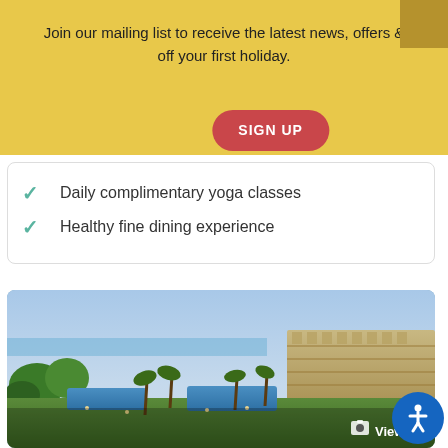Join our mailing list to receive the latest news, offers & off your first holiday.
SIGN UP
Daily complimentary yoga classes
Healthy fine dining experience
[Figure (photo): Aerial/elevated view of a luxury resort hotel with swimming pools, palm trees, and a building complex, overlooking the sea at dusk.]
View Photo(s)